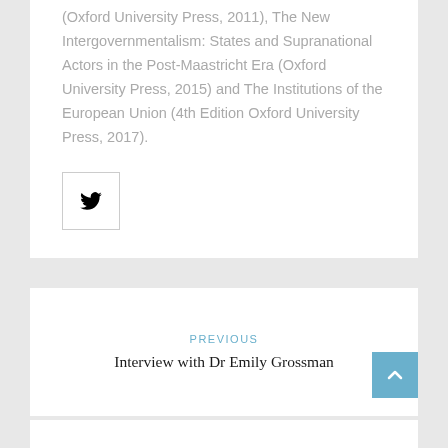(Oxford University Press, 2011), The New Intergovernmentalism: States and Supranational Actors in the Post-Maastricht Era (Oxford University Press, 2015) and The Institutions of the European Union (4th Edition Oxford University Press, 2017).
[Figure (logo): Twitter bird icon inside a square bordered box]
PREVIOUS
Interview with Dr Emily Grossman